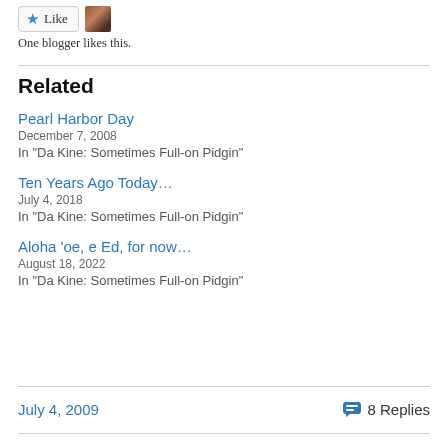[Figure (other): Like button with star icon and small bird avatar image]
One blogger likes this.
Related
Pearl Harbor Day
December 7, 2008
In "Da Kine: Sometimes Full-on Pidgin"
Ten Years Ago Today…
July 4, 2018
In "Da Kine: Sometimes Full-on Pidgin"
Aloha 'oe, e Ed, for now…
August 18, 2022
In "Da Kine: Sometimes Full-on Pidgin"
July 4, 2009   💬 8 Replies